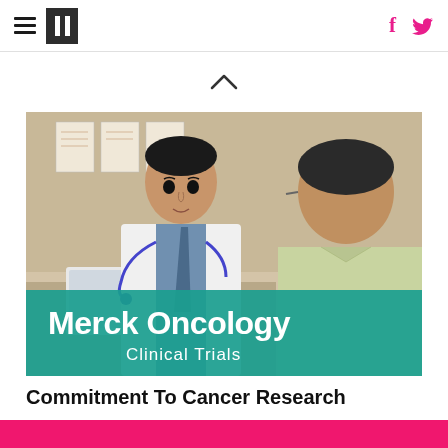Huffington Post navigation bar with hamburger menu, logo, Facebook and Twitter icons
[Figure (photo): Doctor in white coat with stethoscope consulting with a patient; overlaid teal banner reads 'Merck Oncology Clinical Trials']
Commitment To Cancer Research
Merck
Pink footer bar